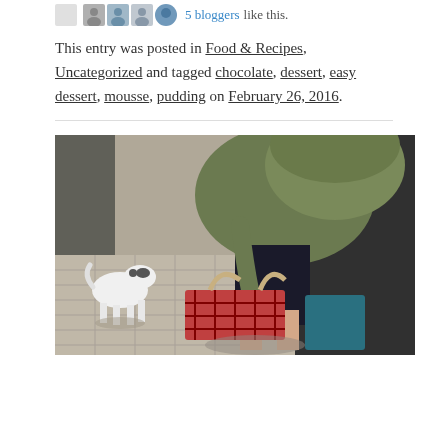5 bloggers like this.
This entry was posted in Food & Recipes, Uncategorized and tagged chocolate, dessert, easy dessert, mousse, pudding on February 26, 2016.
[Figure (photo): Outdoor photo of a person bending over with luggage and bags, wearing a green knit hat. A small white and black dog walks nearby on a tiled sidewalk. A plaid bag and other luggage are visible on the ground.]